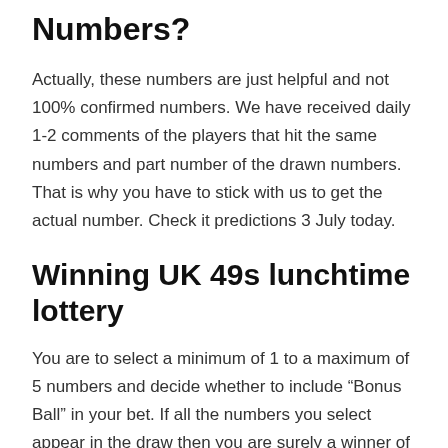Numbers?
Actually, these numbers are just helpful and not 100% confirmed numbers. We have received daily 1-2 comments of the players that hit the same numbers and part number of the drawn numbers. That is why you have to stick with us to get the actual number. Check it predictions 3 July today.
Winning UK 49s lunchtime lottery
You are to select a minimum of 1 to a maximum of 5 numbers and decide whether to include “Bonus Ball” in your bet. If all the numbers you select appear in the draw then you are surely a winner of the day. The winning amount always depends on your bet and the numbers you bet on. Remember to choose numbers with better odds. Joining a Syndicate will increase your chances of